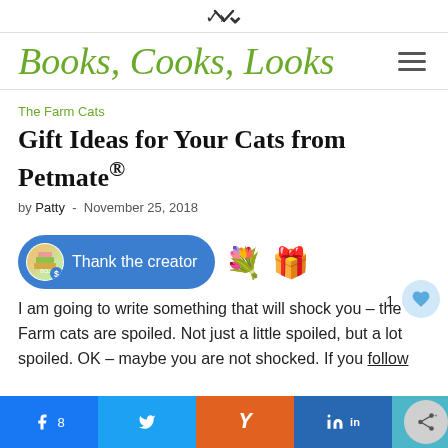▼
Books, Cooks, Looks
The Farm Cats
Gift Ideas for Your Cats from Petmate®
by Patty  -  November 25, 2018
[Figure (other): Thank the creator button with avatar and gift/flower emojis]
I am going to write something that will shock you – the Farm cats are spoiled. Not just a little spoiled, but a lot spoiled. OK – maybe you are not shocked. If you follow